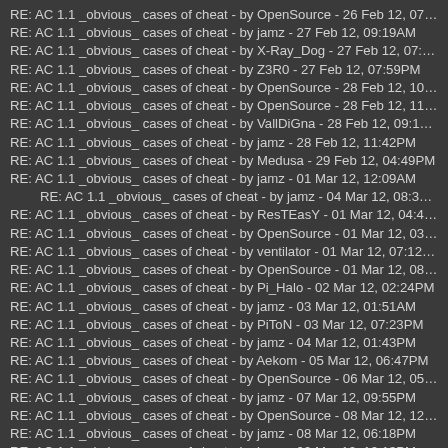RE: AC 1.1 _obvious_ cases of cheat - by OpenSource - 26 Feb 12, 07:39PM
RE: AC 1.1 _obvious_ cases of cheat - by jamz - 27 Feb 12, 09:19AM
RE: AC 1.1 _obvious_ cases of cheat - by X-Ray_Dog - 27 Feb 12, 07:13PM
RE: AC 1.1 _obvious_ cases of cheat - by Z3R0 - 27 Feb 12, 07:59PM
RE: AC 1.1 _obvious_ cases of cheat - by OpenSource - 28 Feb 12, 10:04AM
RE: AC 1.1 _obvious_ cases of cheat - by OpenSource - 28 Feb 12, 11:21AM
RE: AC 1.1 _obvious_ cases of cheat - by VallDiGna - 28 Feb 12, 09:11PM
RE: AC 1.1 _obvious_ cases of cheat - by jamz - 28 Feb 12, 11:42PM
RE: AC 1.1 _obvious_ cases of cheat - by Medusa - 29 Feb 12, 04:49PM
RE: AC 1.1 _obvious_ cases of cheat - by jamz - 01 Mar 12, 12:09AM
RE: AC 1.1 _obvious_ cases of cheat - by jamz - 04 Mar 12, 08:33AM
RE: AC 1.1 _obvious_ cases of cheat - by ResTEasY - 01 Mar 12, 04:43AM
RE: AC 1.1 _obvious_ cases of cheat - by OpenSource - 01 Mar 12, 03:25PM
RE: AC 1.1 _obvious_ cases of cheat - by ventilator - 01 Mar 12, 07:12PM
RE: AC 1.1 _obvious_ cases of cheat - by OpenSource - 01 Mar 12, 08:34PM
RE: AC 1.1 _obvious_ cases of cheat - by Pi_Halo - 02 Mar 12, 02:24PM
RE: AC 1.1 _obvious_ cases of cheat - by jamz - 03 Mar 12, 01:51AM
RE: AC 1.1 _obvious_ cases of cheat - by PiToN - 03 Mar 12, 07:23PM
RE: AC 1.1 _obvious_ cases of cheat - by jamz - 04 Mar 12, 01:43PM
RE: AC 1.1 _obvious_ cases of cheat - by Aekom - 05 Mar 12, 06:47PM
RE: AC 1.1 _obvious_ cases of cheat - by OpenSource - 06 Mar 12, 05:02PM
RE: AC 1.1 _obvious_ cases of cheat - by jamz - 07 Mar 12, 09:55PM
RE: AC 1.1 _obvious_ cases of cheat - by OpenSource - 08 Mar 12, 12:51AM
RE: AC 1.1 _obvious_ cases of cheat - by jamz - 08 Mar 12, 06:18PM
RE: AC 1.1 _obvious_ cases of cheat - by jamz - 09 Mar 12, 10:13PM